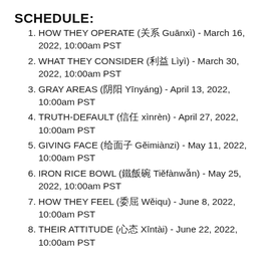SCHEDULE:
HOW THEY OPERATE (关系 Guānxì) - March 16, 2022, 10:00am PST
WHAT THEY CONSIDER (利益 Lìyì) - March 30, 2022, 10:00am PST
GRAY AREAS (阴阳 Yīnyáng) - April 13, 2022, 10:00am PST
TRUTH-DEFAULT (信任 xìnrèn) - April 27, 2022, 10:00am PST
GIVING FACE (给面子 Gěimiànzi) - May 11, 2022, 10:00am PST
IRON RICE BOWL (铁饭碗 Tiěfànwǎn) - May 25, 2022, 10:00am PST
HOW THEY FEEL (委屈 Wěiqu) - June 8, 2022, 10:00am PST
THEIR ATTITUDE (心态 Xīntài) - June 22, 2022, 10:00am PST